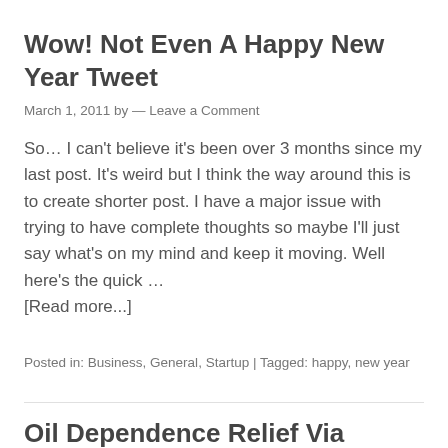Wow! Not Even A Happy New Year Tweet
March 1, 2011 by — Leave a Comment
So… I can't believe it's been over 3 months since my last post. It's weird but I think the way around this is to create shorter post. I have a major issue with trying to have complete thoughts so maybe I'll just say what's on my mind and keep it moving. Well here's the quick … [Read more...]
Posted in: Business, General, Startup | Tagged: happy, new year
Oil Dependence Relief Via America...